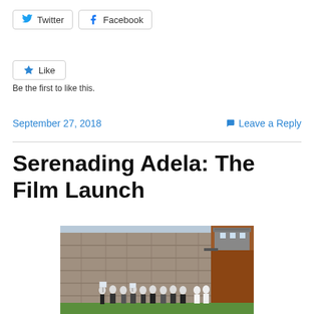[Figure (other): Twitter and Facebook share buttons]
[Figure (other): Like button with star icon]
Be the first to like this.
September 27, 2018
Leave a Reply
Serenading Adela: The Film Launch
[Figure (photo): Group of people in period costume standing in front of a large stone prison wall with a guard tower. They are on a grass lawn and some are holding signs.]